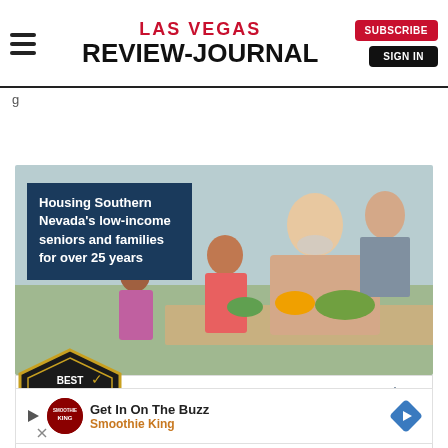LAS VEGAS REVIEW-JOURNAL | SUBSCRIBE | SIGN IN
g
[Figure (photo): Advertisement for Nevada Hand nonprofit showing seniors and families. Photo of woman in mask helping a child plant a garden. Text overlay: 'Housing Southern Nevada's low-income seniors and families for over 25 years'. Bottom: Best Las Vegas Vote For Us badge, Best Non-Profit / Vote Now in orange, Nevada Hand logo.]
[Figure (photo): Smoothie King advertisement banner: play icon, Smoothie King logo, text 'Get In On The Buzz / Smoothie King', orange arrow diamond on right.]